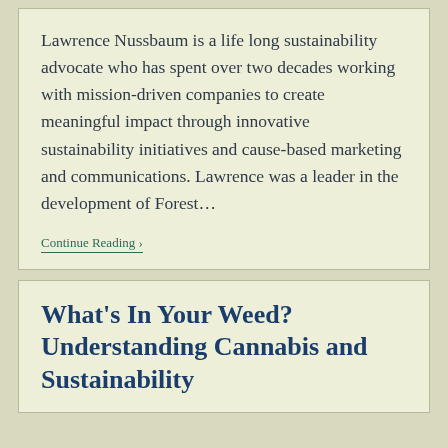Lawrence Nussbaum is a life long sustainability advocate who has spent over two decades working with mission-driven companies to create meaningful impact through innovative sustainability initiatives and cause-based marketing and communications. Lawrence was a leader in the development of Forest…
Continue Reading ›
What's In Your Weed? Understanding Cannabis and Sustainability